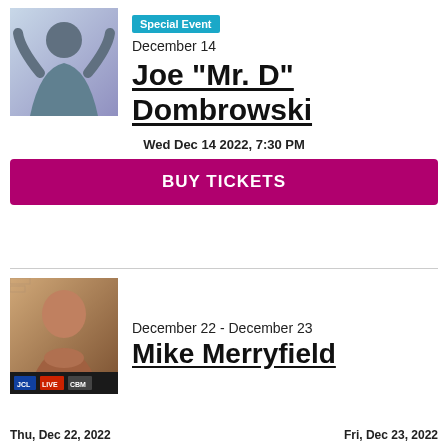[Figure (photo): Photo of Joe 'Mr. D' Dombrowski, a man with arms raised against a light blue/purple background]
Special Event
December 14
Joe "Mr. D" Dombrowski
Wed Dec 14 2022, 7:30 PM
BUY TICKETS
[Figure (photo): Photo of Mike Merryfield, a bald man with his hands folded, with logos at the bottom]
December 22 - December 23
Mike Merryfield
Thu, Dec 22, 2022
Fri, Dec 23, 2022